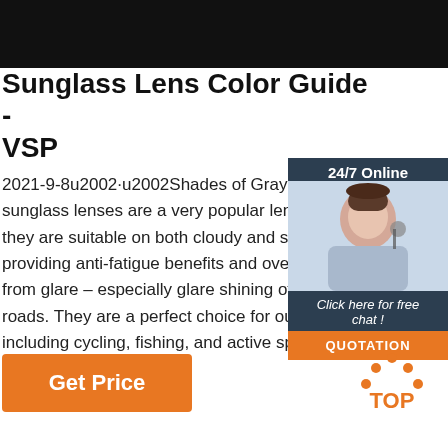[Figure (photo): Black bar at top of page]
Sunglass Lens Color Guide - VSP
2021-9-8u2002·u2002Shades of Gray Tin sunglass lenses are a very popular lens ti they are suitable on both cloudy and sunr providing anti-fatigue benefits and overall from glare – especially glare shining off w roads. They are a perfect choice for outdo including cycling, fishing, and active sports.
[Figure (photo): Customer service representative with headset; sidebar with 24/7 Online text, Click here for free chat!, and QUOTATION button]
Get Price
[Figure (illustration): TOP icon with orange dots and text]